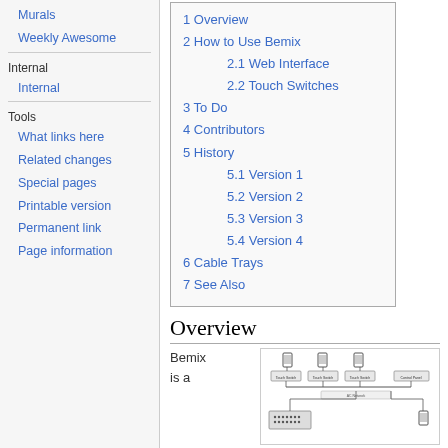Murals
Weekly Awesome
Internal
Internal
Tools
What links here
Related changes
Special pages
Printable version
Permanent link
Page information
| 1 Overview |
| 2 How to Use Bemix |
| 2.1 Web Interface |
| 2.2 Touch Switches |
| 3 To Do |
| 4 Contributors |
| 5 History |
| 5.1 Version 1 |
| 5.2 Version 2 |
| 5.3 Version 3 |
| 5.4 Version 4 |
| 6 Cable Trays |
| 7 See Also |
Overview
Bemix is a
[Figure (network-graph): Network diagram showing touch switches, control panel, and AC network connections with cable routing]